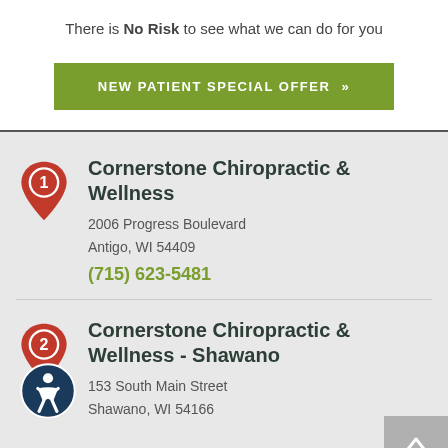There is No Risk to see what we can do for you
[Figure (other): Green button: NEW PATIENT SPECIAL OFFER >>]
1 - Cornerstone Chiropractic & Wellness, 2006 Progress Boulevard, Antigo, WI 54409, (715) 623-5481
2 - Cornerstone Chiropractic & Wellness - Shawano, 153 South Main Street, Shawano, WI 54166